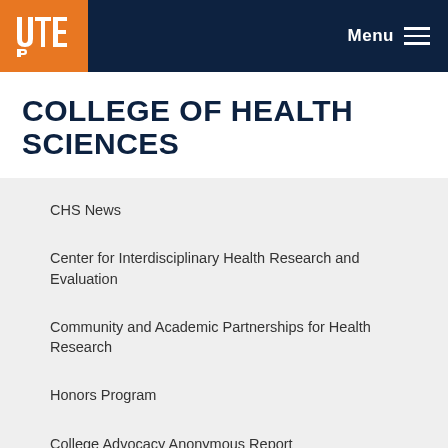[Figure (logo): UTEP university logo in white on orange background]
COLLEGE OF HEALTH SCIENCES
CHS News
Center for Interdisciplinary Health Research and Evaluation
Community and Academic Partnerships for Health Research
Honors Program
College Advocacy Anonymous Report
Minority Health International Research Training (MHIRT) Program